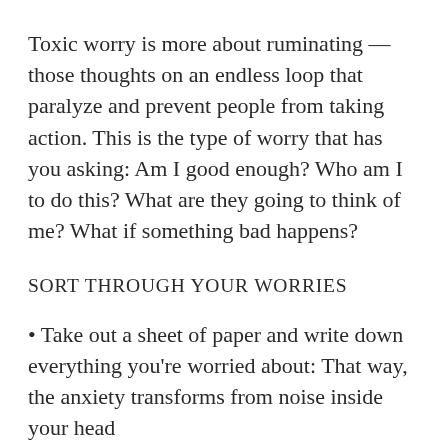Toxic worry is more about ruminating — those thoughts on an endless loop that paralyze and prevent people from taking action. This is the type of worry that has you asking: Am I good enough? Who am I to do this? What are they going to think of me? What if something bad happens?
SORT THROUGH YOUR WORRIES
• Take out a sheet of paper and write down everything you're worried about: That way, the anxiety transforms from noise inside your head